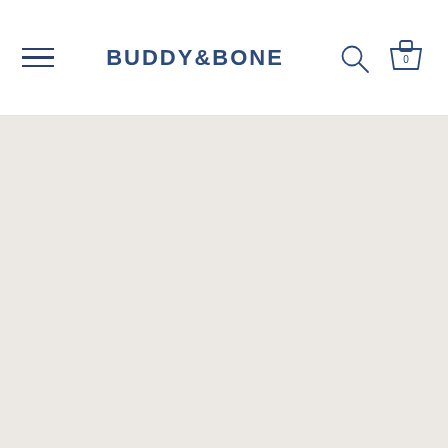BUDDY & BONE
[Figure (other): Empty beige/cream content area below the navigation header]